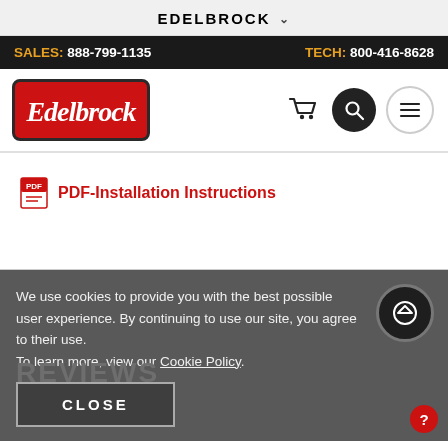EDELBROCK
SALES: 888-799-1135   TECH: 800-416-8628
[Figure (logo): Edelbrock logo with red rounded rectangle background and white italic script text]
PDF-Installation Instructions
We use cookies to provide you with the best possible user experience. By continuing to use our site, you agree to their use. To learn more, view our Cookie Policy.
REVIEWS
CLOSE